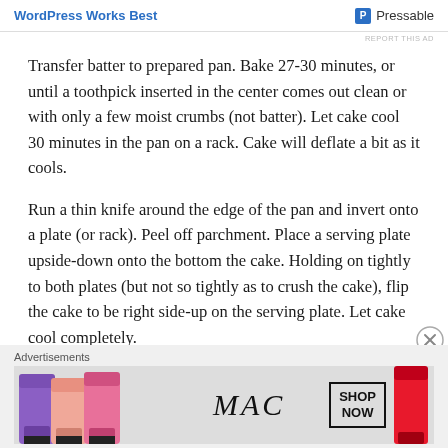WordPress Works Best | Pressable
Transfer batter to prepared pan. Bake 27-30 minutes, or until a toothpick inserted in the center comes out clean or with only a few moist crumbs (not batter). Let cake cool 30 minutes in the pan on a rack. Cake will deflate a bit as it cools.
Run a thin knife around the edge of the pan and invert onto a plate (or rack). Peel off parchment. Place a serving plate upside-down onto the bottom the cake. Holding on tightly to both plates (but not so tightly as to crush the cake), flip the cake to be right side-up on the serving plate. Let cake cool completely.
Advertisements
[Figure (photo): MAC cosmetics advertisement banner showing colorful lipsticks, MAC logo, and SHOP NOW button]